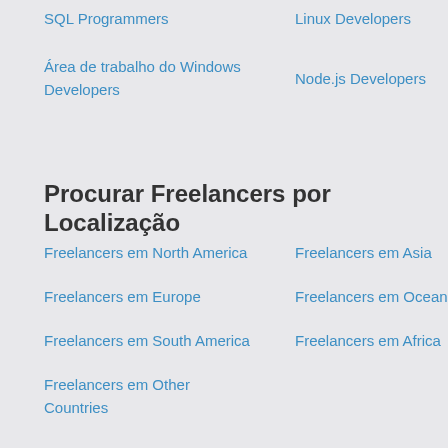SQL Programmers
Linux Developers
Área de trabalho do Windows Developers
Node.js Developers
Procurar Freelancers por Localização
Freelancers em North America
Freelancers em Asia
Freelancers em Europe
Freelancers em Oceania
Freelancers em South America
Freelancers em Africa
Freelancers em Other Countries